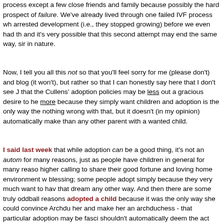process except a few close friends and family because possibly the hard prospect of failure. We've already lived through one failed IVF process wh arrested development (i.e., they stopped growing) before we even had th and it's very possible that this second attempt may end the same way, sir in nature.
Now, I tell you all this not so that you'll feel sorry for me (please don't) and blog (it won't), but rather so that I can honestly say here that I don't see J that the Cullens' adoption policies may be less out a gracious desire to he more because they simply want children and adoption is the only way the nothing wrong with that, but it doesn't (in my opinion) automatically make than any other parent with a wanted child.
I said last week that while adoption can be a good thing, it's not an autom for many reasons, just as people have children in general for many reaso higher calling to share their good fortune and loving home environment w blessing; some people adopt simply because they very much want to hav that dream any other way. And then there are some truly oddball reasons adopted a child because it was the only way she could convince Archdu her and make her an archduchess - that particular adoption may be fasci shouldn't automatically deem the act "really kind of nice" of Miss Bianca, work out well for the child in the end).